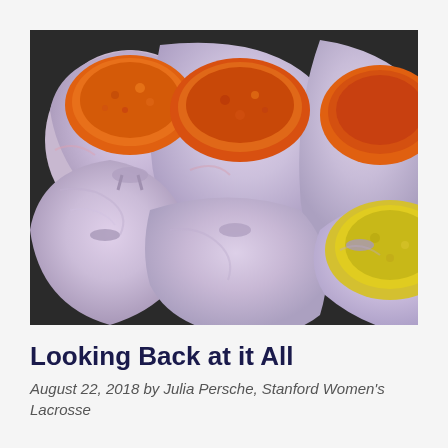[Figure (photo): Multiple large bags made of colorful swirled pastel fabric (pink, blue, white), tied at the top, filled with orange and yellow dried flower petals or marigolds, viewed from above.]
Looking Back at it All
August 22, 2018 by Julia Persche, Stanford Women's Lacrosse